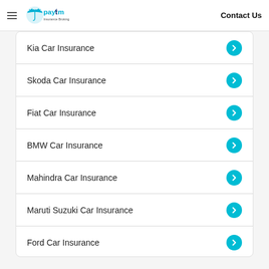Paytm Insurance Broking — Contact Us
Kia Car Insurance
Skoda Car Insurance
Fiat Car Insurance
BMW Car Insurance
Mahindra Car Insurance
Maruti Suzuki Car Insurance
Ford Car Insurance
Show more